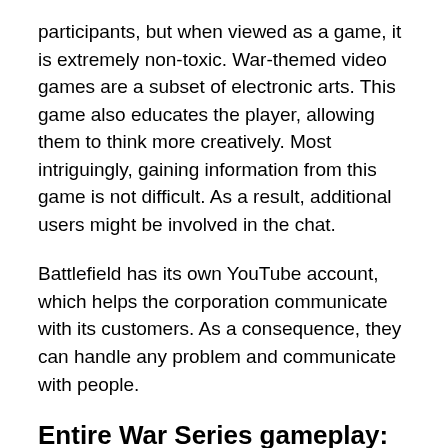participants, but when viewed as a game, it is extremely non-toxic. War-themed video games are a subset of electronic arts. This game also educates the player, allowing them to think more creatively. Most intriguingly, gaining information from this game is not difficult. As a result, additional users might be involved in the chat.
Battlefield has its own YouTube account, which helps the corporation communicate with its customers. As a consequence, they can handle any problem and communicate with people.
Entire War Series gameplay:
Since its release, users have praised the gameplay of the Entire War Series. It tells entertaining stories that draw millions of viewers. One of the game's distinguishing aspects is its environment. In this game, players are well-structured and